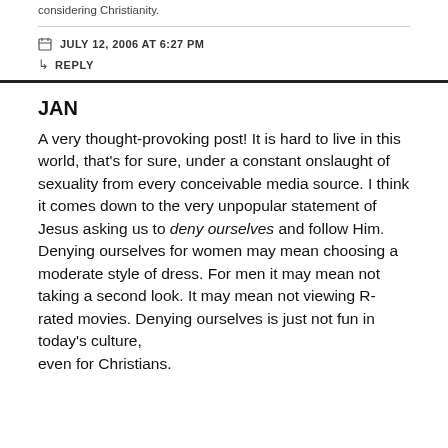considering Christianity.
JULY 12, 2006 AT 6:27 PM
REPLY
JAN
A very thought-provoking post! It is hard to live in this world, that's for sure, under a constant onslaught of sexuality from every conceivable media source. I think it comes down to the very unpopular statement of Jesus asking us to deny ourselves and follow Him. Denying ourselves for women may mean choosing a moderate style of dress. For men it may mean not taking a second look. It may mean not viewing R-rated movies. Denying ourselves is just not fun in today's culture, even for Christians.